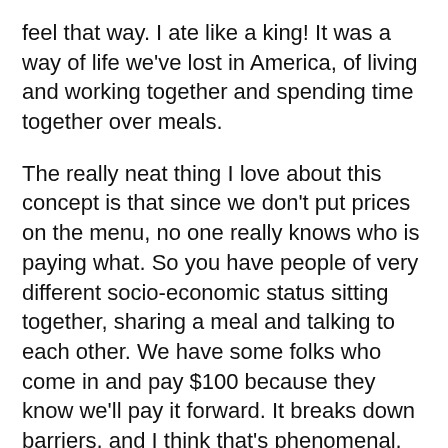feel that way. I ate like a king! It was a way of life we've lost in America, of living and working together and spending time together over meals.
The really neat thing I love about this concept is that since we don't put prices on the menu, no one really knows who is paying what. So you have people of very different socio-economic status sitting together, sharing a meal and talking to each other. We have some folks who come in and pay $100 because they know we'll pay it forward. It breaks down barriers, and I think that's phenomenal.
We see lives changed here. Forty percent of folks who come in exchange their meal for service. Over the past two years, 30 people have been able to obtain living wage jobs after working here. That's feeding a million dollars back into our economy. I see the food industry